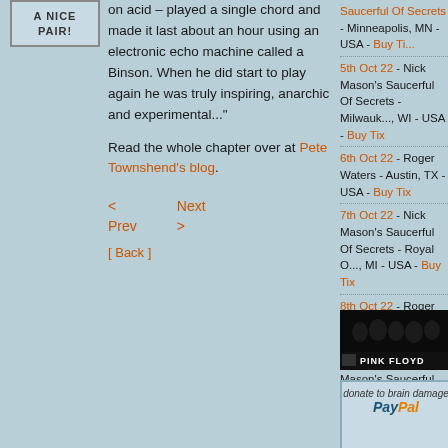A NICE PAIR!
on acid – played a single chord and made it last about an hour using an electronic echo machine called a Binson. When he did start to play again he was truly inspiring, anarchic and experimental..."
Read the whole chapter over at Pete Townshend's blog.
< Prev
Next >
[ Back ]
5th Oct 22 - Nick Mason's Saucerful Of Secrets - Milwaukee, WI - USA - Buy Tix
6th Oct 22 - Roger Waters - Austin, TX - USA - Buy Tix
7th Oct 22 - Nick Mason's Saucerful Of Secrets - Royal O, MI - USA - Buy Tix
8th Oct 22 - Roger Waters - Da, TX - USA - Buy Tix
8th Oct 22 - Nick Mason's Saucerful Of Secrets - Toronto, Ontario - Canada - Buy Tix
9th Oct 22 - Nick Mason's Saucerful Of Secrets - Buffalo, - USA - Buy Tix
[Figure (photo): Pink Floyd band photo with dark background and 'PINK FLOYD' text]
[Figure (other): Donate to brain damage - PayPal button area]